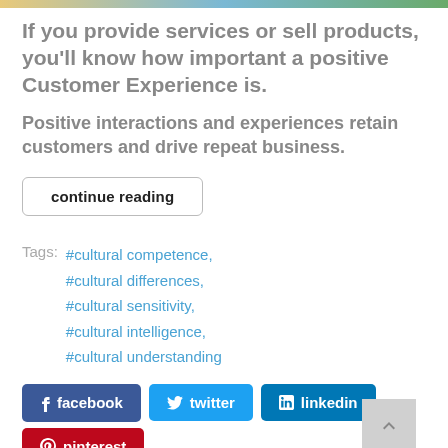[Figure (photo): Partial image strip at top of page (colorful image, partially visible)]
If you provide services or sell products, you’ll know how important a positive Customer Experience is.
Positive interactions and experiences retain customers and drive repeat business.
continue reading
Tags:  #cultural competence,  #cultural differences,  #cultural sensitivity,  #cultural intelligence,  #cultural understanding
facebook  twitter  linkedin  pinterest